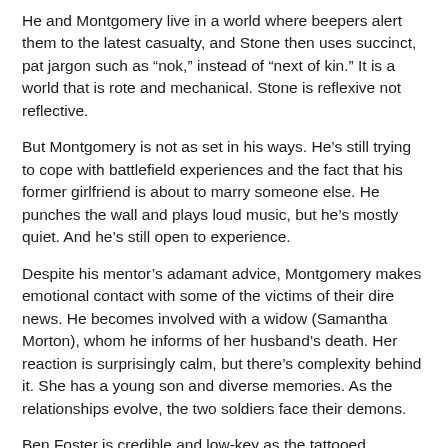He and Montgomery live in a world where beepers alert them to the latest casualty, and Stone then uses succinct, pat jargon such as “nok,” instead of “next of kin.” It is a world that is rote and mechanical. Stone is reflexive not reflective.
But Montgomery is not as set in his ways. He’s still trying to cope with battlefield experiences and the fact that his former girlfriend is about to marry someone else. He punches the wall and plays loud music, but he’s mostly quiet. And he’s still open to experience.
Despite his mentor’s adamant advice, Montgomery makes emotional contact with some of the victims of their dire news. He becomes involved with a widow (Samantha Morton), whom he informs of her husband’s death. Her reaction is surprisingly calm, but there’s complexity behind it. She has a young son and diverse memories. As the relationships evolve, the two soldiers face their demons.
Ben Foster is credible and low-key as the tattooed, emotionally-scarred Montgomery. Foster played the vicious, brutal killer in “3:10 to Yuma.” In “The Messenger” he shows a much different sensibility as the sensitive Montgomery. Edward Norton or Ryan Gosling might have played Foster’s role in the past. Foster is their equal.